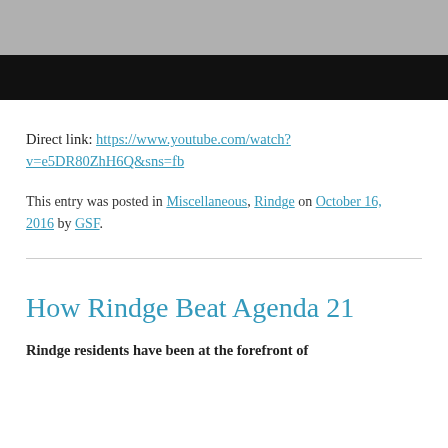[Figure (photo): Partial photo showing a tiled floor scene, top portion visible above a black bar]
Direct link: https://www.youtube.com/watch?v=e5DR80ZhH6Q&sns=fb
This entry was posted in Miscellaneous, Rindge on October 16, 2016 by GSF.
How Rindge Beat Agenda 21
Rindge residents have been at the forefront of